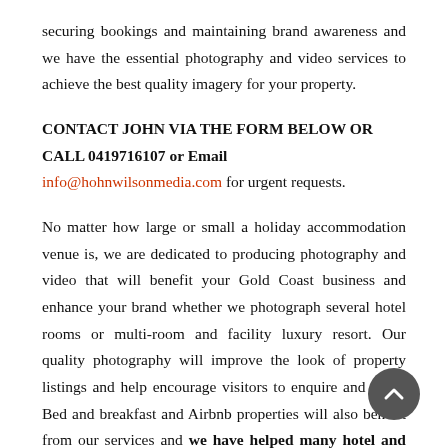securing bookings and maintaining brand awareness and we have the essential photography and video services to achieve the best quality imagery for your property.
CONTACT JOHN VIA THE FORM BELOW OR CALL 0419716107 or Email info@hohnwilsonmedia.com for urgent requests.
No matter how large or small a holiday accommodation venue is, we are dedicated to producing photography and video that will benefit your Gold Coast business and enhance your brand whether we photograph several hotel rooms or multi-room and facility luxury resort. Our quality photography will improve the look of property listings and help encourage visitors to enquire and book. Bed and breakfast and Airbnb properties will also benefit from our services and we have helped many hotel and holiday venue owners increase their bookings by producing exceptional